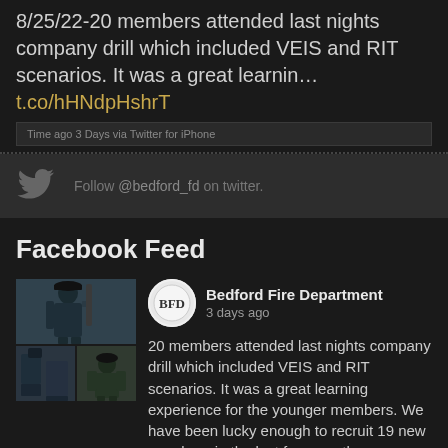8/25/22-20 members attended last nights company drill which included VEIS and RIT scenarios. It was a great learnin... t.co/hHNdpHshrT
Time ago 3 Days via Twitter for iPhone
Follow @bedford_fd on twitter.
Facebook Feed
[Figure (photo): Two photos of firefighters in gear during a drill. Top photo shows firefighter in helmet from behind near a building. Bottom row shows two smaller photos of firefighters in various gear.]
Bedford Fire Department
3 days ago
20 members attended last nights company drill which included VEIS and RIT scenarios. It was a great learning experience for the younger members. We have been lucky enough to recruit 19 new members in the last four months.
Thank you to the Forest Fire Department